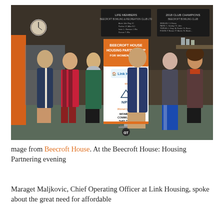[Figure (photo): Group photo of six people standing in a row inside a bowling club, in front of a pull-up banner reading 'Beecroft House Housing Partnership for Women Over 55', with logos for Link Housing, NPM, Women's Circle, Women's Community Shelters, and GT, supported by. Black boards with 'Life Members' and '2018 Club Champions Beecroft Bowling Club' visible in the background.]
mage from Beecroft House. At the Beecroft House: Housing Partnering evening
Maraget Maljkovic, Chief Operating Officer at Link Housing, spoke about the great need for affordable